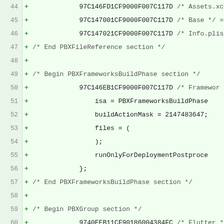[Figure (screenshot): Code diff view showing lines 44–66 of an Xcode project file (.pbxproj), with added lines marked by '+' in green. Sections shown include PBXFileReference, PBXFrameworksBuildPhase, and PBXGroup.]